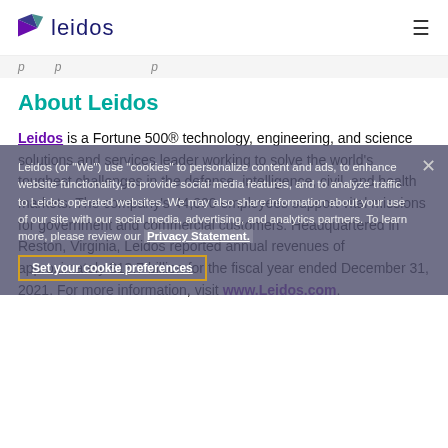leidos [hamburger menu icon]
partially visible text strip at top of content
About Leidos
Leidos is a Fortune 500® technology, engineering, and science solutions and services leader working to solve the world's toughest challenges in the defense, intelligence, civil, and health markets. The company's 44,000 employees support vital missions for government and commercial customers. Headquartered in Reston, Virginia, Leidos reported annual revenues of approximately $13.7 billion for the fiscal year ended December 31, 2021. For more information, visit www.Leidos.com.
Leidos (or "We") use "cookies" to personalize content and ads, to enhance website functionality, to provide social media features, and to analyze traffic to Leidos operated websites. We may also share information about your use of our site with our social media, advertising, and analytics partners. To learn more, please review our Privacy Statement.
Set your cookie preferences